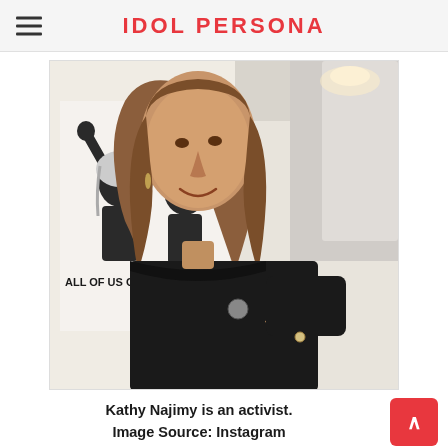IDOL PERSONA
[Figure (photo): Kathy Najimy wearing a black t-shirt with a small graphic pin, smiling, pointing at the pin. In the background is a white fabric/banner with an image of two women raising their fists and text reading 'ALL OF US OR N...']
Kathy Najimy is an activist.
Image Source: Instagram